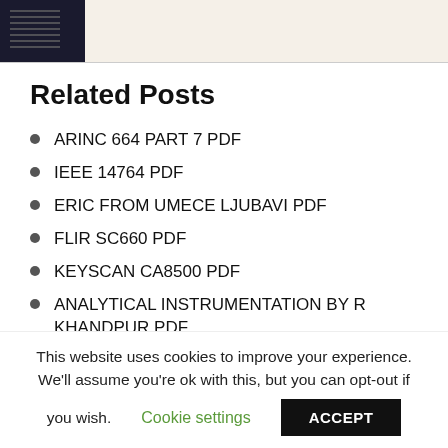[Figure (photo): Partial image strip at the top showing a dark figure/object on a light background]
Related Posts
ARINC 664 PART 7 PDF
IEEE 14764 PDF
ERIC FROM UMECE LJUBAVI PDF
FLIR SC660 PDF
KEYSCAN CA8500 PDF
ANALYTICAL INSTRUMENTATION BY R KHANDPUR PDF
DEMYSTIFYING NUMBER SYSTEM BY NISHIT SINHA PDF
This website uses cookies to improve your experience. We'll assume you're ok with this, but you can opt-out if you wish. Cookie settings ACCEPT